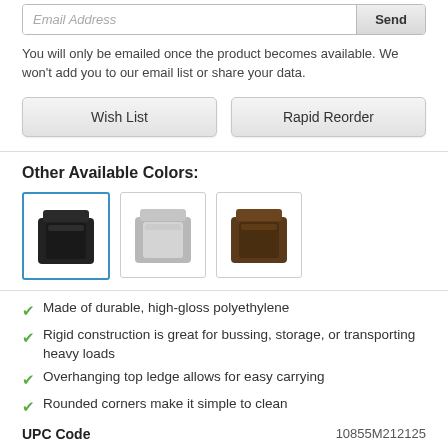Email Address
Send
You will only be emailed once the product becomes available. We won't add you to our email list or share your data.
Wish List
Rapid Reorder
Other Available Colors:
[Figure (photo): Three product color swatches: black bin (selected, blue border), gray/white bin, brown bin]
Made of durable, high-gloss polyethylene
Rigid construction is great for bussing, storage, or transporting heavy loads
Overhanging top ledge allows for easy carrying
Rounded corners make it simple to clean
UPC Code